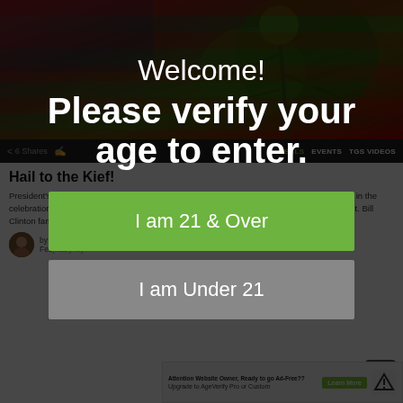[Figure (photo): Cannabis plant against an American flag background, dimmed/darkened]
6 Shares   DEALS  EVENTS   TGS VIDEOS
Hail to the Kief!
President's Day means a three-day weekend, and for some of us, cannabis may play a role in the celebration of our nation's leaders. Here's [content partially obscured] who've used our favorite plant. Bill Clinton famously said, 'when I was in England I experi[enced]... two, and I didn't [...]
by Leah Welborn
Feb[ruary ...]
[Figure (infographic): Age verification modal overlay with Welcome! heading, Please verify your age to enter. message, two buttons: I am 21 & Over (green) and I am Under 21 (gray)]
[Figure (screenshot): Ad banner: ATTENTION WEBSITE OWNER, Ready to go Ad-Free?? Upgrade to AgeVerify Pro or Custom [Learn More button] with logo]